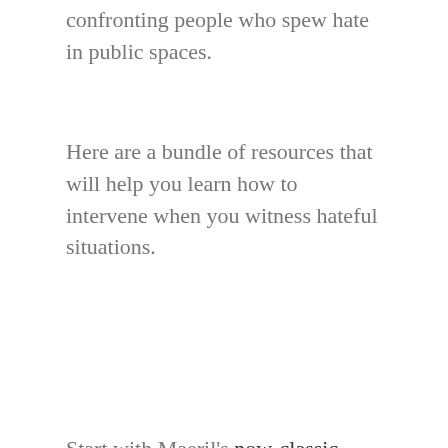confronting people who spew hate in public spaces.
Here are a bundle of resources that will help you learn how to intervene when you witness hateful situations.
Start with Maeril's now-classic cartoon on what to do if you witness Islamophobic harassment.
Hollaback, a movement devoted to stopping street